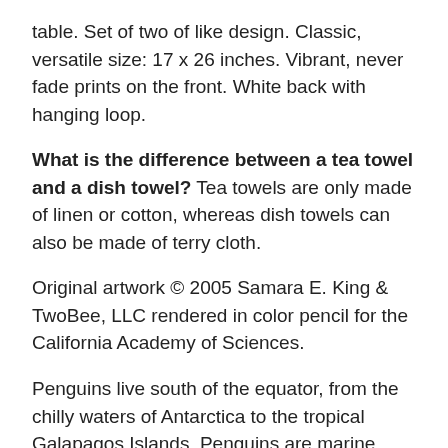table. Set of two of like design. Classic, versatile size: 17 x 26 inches. Vibrant, never fade prints on the front. White back with hanging loop.
What is the difference between a tea towel and a dish towel? Tea towels are only made of linen or cotton, whereas dish towels can also be made of terry cloth.
Original artwork © 2005 Samara E. King & TwoBee, LLC rendered in color pencil for the California Academy of Sciences.
Penguins live south of the equator, from the chilly waters of Antarctica to the tropical Galapagos Islands. Penguins are marine birds specially adapted to living at sea. Most of the following 17 penguin species are in decline and are listed on the ICUN Red List of Threatened Species: 1a) Fairy (Little Blue)